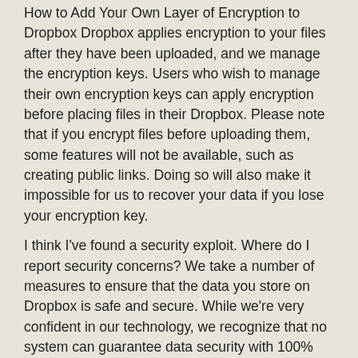How to Add Your Own Layer of Encryption to Dropbox Dropbox applies encryption to your files after they have been uploaded, and we manage the encryption keys. Users who wish to manage their own encryption keys can apply encryption before placing files in their Dropbox. Please note that if you encrypt files before uploading them, some features will not be available, such as creating public links. Doing so will also make it impossible for us to recover your data if you lose your encryption key.
I think I’ve found a security exploit. Where do I report security concerns? We take a number of measures to ensure that the data you store on Dropbox is safe and secure. While we're very confident in our technology, we recognize that no system can guarantee data security with 100% certainty. For that reason, we will continue to innovate to make sure that our security measures are state of the art, and we will investigate any and all reported security issues concerning Dropbox’s services or software. For a direct line to our security experts, report security issues to security@dropbox.com.
We’ll fully credit anybody whose reports lead to the improvement of Dropbox security. A list of those who have contributed reports leading to a bug or security issue can be found on our special thanks page.
ul#the_list > li { padding: 4px; } Dropbox Acceptable Use Policy Dropbox is used by millions of people, and we are proud of the trust placed in us.